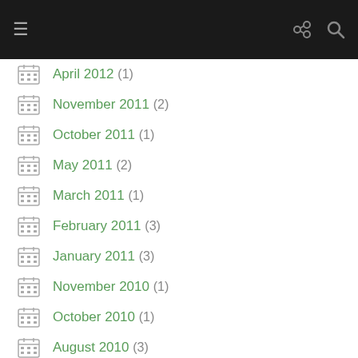April 2012 (1)
November 2011 (2)
October 2011 (1)
May 2011 (2)
March 2011 (1)
February 2011 (3)
January 2011 (3)
November 2010 (1)
October 2010 (1)
August 2010 (3)
July 2010 (3)
June 2010 (5)
May 2010 (5)
April 2010 (2)